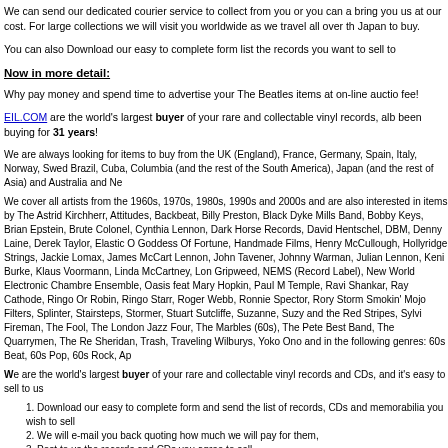We can send our dedicated courier service to collect from you or you can a bring you us at our cost. For large collections we will visit you worldwide as we travel all over the Japan to buy.
You can also Download our easy to complete form list the records you want to sell to
Now in more detail:
Why pay money and spend time to advertise your The Beatles items at on-line auctio fee!
EIL.COM are the world's largest buyer of your rare and collectable vinyl records, alb been buying for 31 years!
We are always looking for items to buy from the UK (England), France, Germany, Spain, Italy, Norway, Swed Brazil, Cuba, Columbia (and the rest of the South America), Japan (and the rest of Asia) and Australia and Ne
We cover all artists from the 1960s, 1970s, 1980s, 1990s and 2000s and are also interested in items by The Astrid Kirchherr, Attitudes, Backbeat, Billy Preston, Black Dyke Mills Band, Bobby Keys, Brian Epstein, Brute Colonel, Cynthia Lennon, Dark Horse Records, David Hentschel, DBM, Denny Laine, Derek Taylor, Elastic O Goddess Of Fortune, Handmade Films, Henry McCullough, Hollyridge Strings, Jackie Lomax, James McCart Lennon, John Tavener, Johnny Warman, Julian Lennon, Keni Burke, Klaus Voormann, Linda McCartney, Lon Gripweed, NEMS (Record Label), New World Electronic Chambre Ensemble, Oasis feat Mary Hopkin, Paul M Temple, Ravi Shankar, Ray Cathode, Ringo Or Robin, Ringo Starr, Roger Webb, Ronnie Spector, Rory Storm Smokin' Mojo Filters, Splinter, Stairsteps, Stormer, Stuart Sutcliffe, Suzanne, Suzy and the Red Stripes, Sylvi Fireman, The Fool, The London Jazz Four, The Marbles (60s), The Pete Best Band, The Quarrymen, The Re Sheridan, Trash, Traveling Wilburys, Yoko Ono and in the following genres: 60s Beat, 60s Pop, 60s Rock, Ap
We are the world's largest buyer of your rare and collectable vinyl records and CDs, and it's easy to sell to us
1. Download our easy to complete form and send the list of records, CDs and memorabilia you wish to sell
2. We will e-mail you back quoting how much we will pay for them,
3. Post to us the records and CDs you agree to sell,
4.  We send you payment by return and will even pay your postage costs.
You can also call us on +44 (0)1474 815099 and email buyers@eil.com.